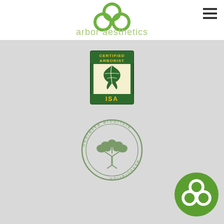[Figure (logo): Arbor Aesthetics logo: three green overlapping circles forming a tree/clover shape above the text 'arbor aesthetics' in light green sans-serif]
[Figure (logo): ISA Certified Arborist badge: green rectangular badge with yellow text 'CERTIFIED ARBORIST' at top, image of an oak leaf, and 'ISA' text in yellow at the bottom]
[Figure (logo): Nebraska Arborists Association circular seal: gray/green circle with text 'nebraska arborists association' around the border and a stylized tree in the center]
[Figure (logo): Arbor Aesthetics circular logo: solid green circle with white three-circle tree icon inside, bottom right of page]